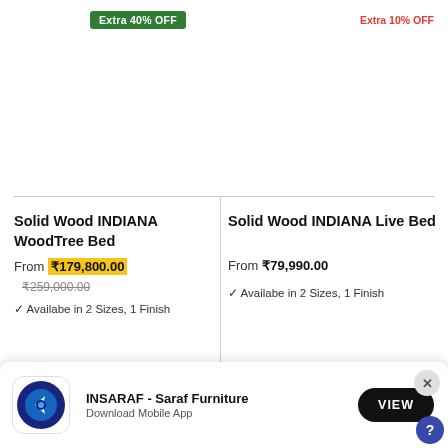Extra 40% OFF
Extra 10% OFF
Solid Wood INDIANA WoodTree Bed
From ₹179,800.00
₹259,000.00
✓ Availabe in 2 Sizes, 1 Finish
Solid Wood INDIANA Live Bed
From ₹79,990.00
✓ Availabe in 2 Sizes, 1 Finish
INSARAF - Saraf Furniture
Download Mobile App
VIEW